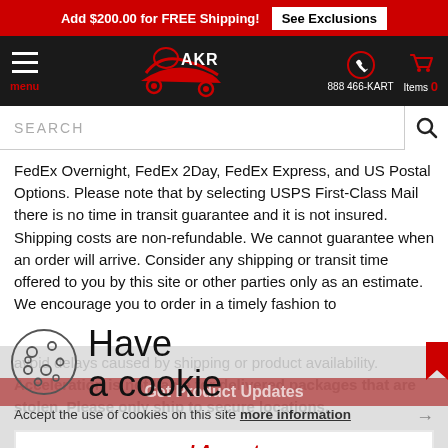Add $200.00 for FREE Shipping! See Exclusions
[Figure (logo): AKR kart shop logo with navigation: menu icon, AKR logo, phone 888 466-KART, cart Items 0]
SEARCH
FedEx Overnight, FedEx 2Day, FedEx Express, and US Postal Options. Please note that by selecting USPS First-Class Mail there is no time in transit guarantee and it is not insured. Shipping costs are non-refundable. We cannot guarantee when an order will arrive. Consider any shipping or transit time offered to you by this site or other parties only as an estimate. We encourage you to order in a timely fashion to avoid delays caused by shipping or product availability. Acceleration is not liable for delivered packages that are stolen. Please only ship to secure locations.
Have a cookie
Accept the use of cookies on this site more information
I Accept